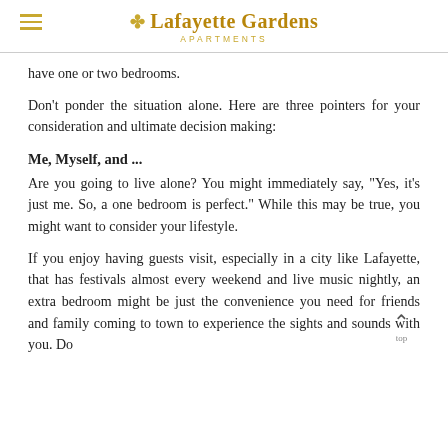Lafayette Gardens APARTMENTS
have one or two bedrooms.
Don't ponder the situation alone. Here are three pointers for your consideration and ultimate decision making:
Me, Myself, and ...
Are you going to live alone? You might immediately say, "Yes, it's just me. So, a one bedroom is perfect." While this may be true, you might want to consider your lifestyle.
If you enjoy having guests visit, especially in a city like Lafayette, that has festivals almost every weekend and live music nightly, an extra bedroom might be just the convenience you need for friends and family coming to town to experience the sights and sounds with you.  Do